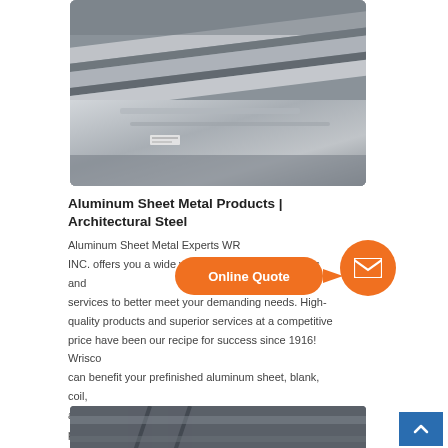[Figure (photo): Stacked aluminum sheet metal panels in a warehouse or industrial storage setting, showing layered metallic surfaces with sheen]
Aluminum Sheet Metal Products | Architectural Steel
Aluminum Sheet Metal Experts WRISCO INC. offers you a wide variety of aluminum products and services to better meet your demanding needs. High-quality products and superior services at a competitive price have been our recipe for success since 1916! Wrisco can benefit your prefinished aluminum sheet, blank, coil, aluminum composite material, storefront/curtain wall panel, building
[Figure (photo): Bottom portion of another industrial photo showing metal materials or machinery]